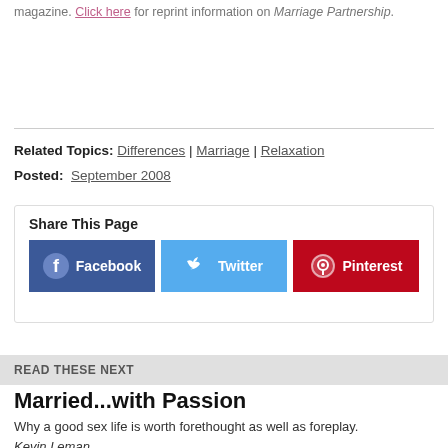magazine. Click here for reprint information on Marriage Partnership.
Related Topics: Differences | Marriage | Relaxation
Posted: September 2008
Share This Page
Facebook | Twitter | Pinterest
READ THESE NEXT
Married...with Passion
Why a good sex life is worth forethought as well as foreplay.
Kevin Leman